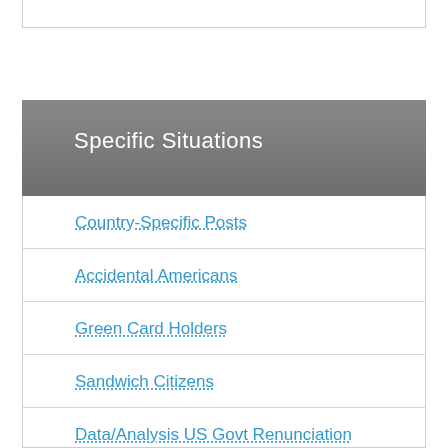Specific Situations
Country-Specific Posts
Accidental Americans
Green Card Holders
Sandwich Citizens
Data/Analysis US Govt Renunciation Stats
Estate Matters; RRSPs, RDSPs, RESPs, TFSAs; Snowbirds
Important! If Relinquishing Act Performed Prior to June 4, 2004
Brockers Making News (articles by and interviews with